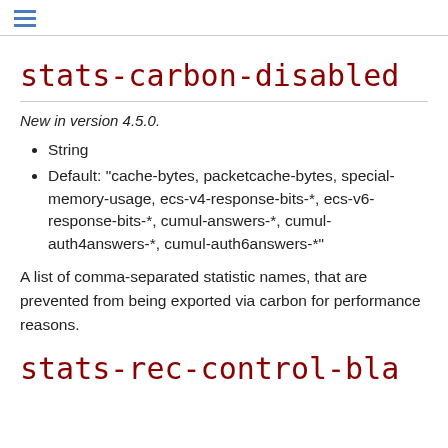≡
stats-carbon-disabled
New in version 4.5.0.
String
Default: "cache-bytes, packetcache-bytes, special-memory-usage, ecs-v4-response-bits-*, ecs-v6-response-bits-*, cumul-answers-*, cumul-auth4answers-*, cumul-auth6answers-*"
A list of comma-separated statistic names, that are prevented from being exported via carbon for performance reasons.
stats-rec-control-bla